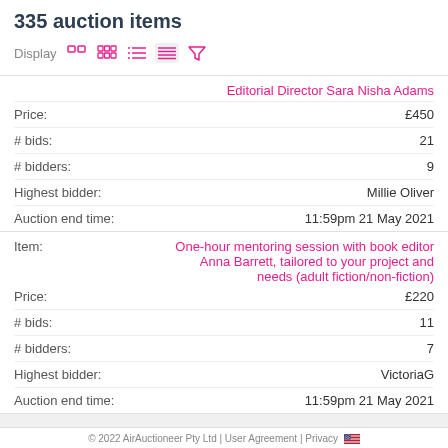335 auction items
Display [icons]
| Field | Value |
| --- | --- |
| Item | Editorial Director Sara Nisha Adams |
| Price: | £450 |
| # bids: | 21 |
| # bidders: | 9 |
| Highest bidder: | Millie Oliver |
| Auction end time: | 11:59pm 21 May 2021 |
| Field | Value |
| --- | --- |
| Item | One-hour mentoring session with book editor Anna Barrett, tailored to your project and needs (adult fiction/non-fiction) |
| Price: | £220 |
| # bids: | 11 |
| # bidders: | 7 |
| Highest bidder: | VictoriaG |
| Auction end time: | 11:59pm 21 May 2021 |
© 2022 AirAuctioneer Pty Ltd | User Agreement | Privacy